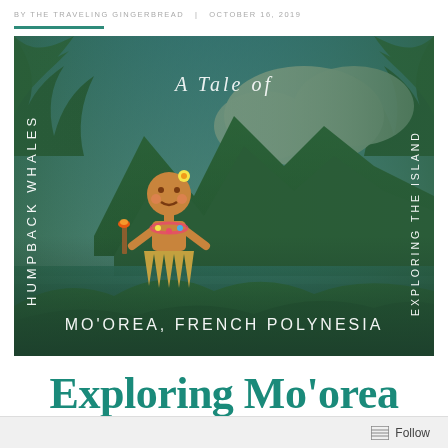BY THE TRAVELING GINGERBREAD  |  OCTOBER 16, 2019
[Figure (photo): Travel blog cover image for Mo'orea, French Polynesia. Features tropical island mountain scenery with blue sky, clouds, lush green mountains, turquoise water, and palm trees. Text overlays read: 'A Tale of', 'HUMPBACK WHALES' (vertical, left side), 'EXPLORING THE ISLAND' (vertical, right side), 'MO'OREA, FRENCH POLYNESIA' (bottom). A gingerbread character in hula costume is overlaid on the left side.]
Exploring Mo'orea